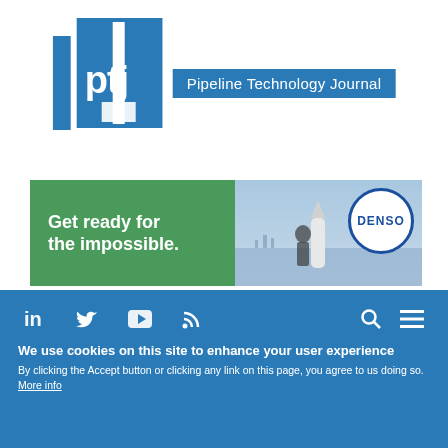[Figure (logo): Pipeline Technology Journal (ptj) logo with blue square icon and text 'Pipeline Technology Journal' on blue background]
[Figure (illustration): Advertisement banner reading 'Get ready for the impossible.' with green left panel and right panel showing a person looking at a rocket, with DENSO circular logo badge]
[Figure (infographic): Blue navigation bar with social media icons: LinkedIn, Twitter, YouTube, RSS feed, Search, and Hamburger menu]
We use cookies on this site to enhance your user experience
By clicking the Accept button or clicking any link on this page, you agree to us doing so. More info
Accept